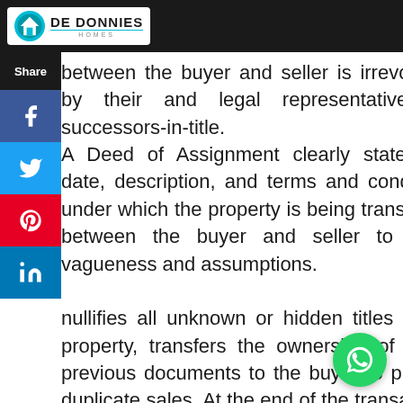DE DONNIES HOMES
between the buyer and seller is irrevocable by their and legal representatives or successors-in-title. A Deed of Assignment clearly states the date, description, and terms and conditions under which the property is being transferred between the buyer and seller to avoid vagueness and assumptions. nullifies all unknown or hidden titles of the property, transfers the ownership of all its previous documents to the buyer to prevent duplicate sales. At the end of the transaction, the buyer should document the Deed of Assignment at the land registry for legal notice.